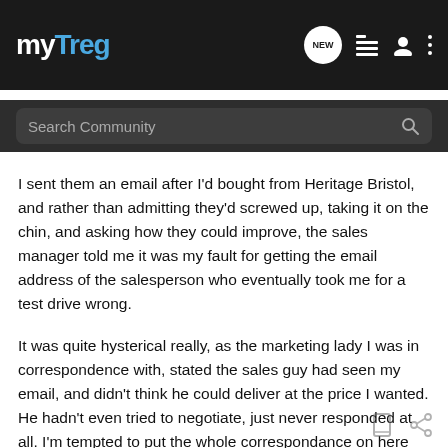myTreg
Search Community
I sent them an email after I'd bought from Heritage Bristol, and rather than admitting they'd screwed up, taking it on the chin, and asking how they could improve, the sales manager told me it was my fault for getting the email address of the salesperson who eventually took me for a test drive wrong.
It was quite hysterical really, as the marketing lady I was in correspondence with, stated the sales guy had seen my email, and didn't think he could deliver at the price I wanted. He hadn't even tried to negotiate, just never responded at all. I'm tempted to put the whole correspondance on here just to show how incompetent they are.